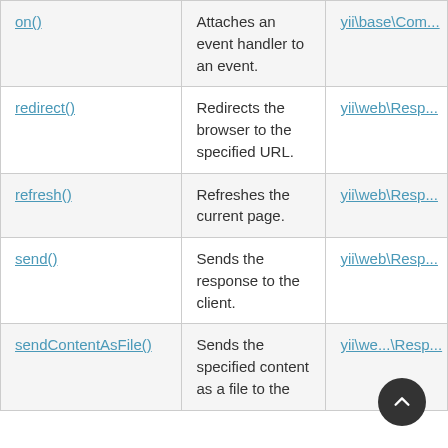| Method | Description | Defined By |
| --- | --- | --- |
| on() | Attaches an event handler to an event. | yii\base\Com... |
| redirect() | Redirects the browser to the specified URL. | yii\web\Resp... |
| refresh() | Refreshes the current page. | yii\web\Resp... |
| send() | Sends the response to the client. | yii\web\Resp... |
| sendContentAsFile() | Sends the specified content as a file to the... | yii\web\Resp... |